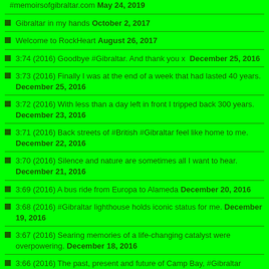#memoirsofgibraltar.com May 24, 2019
Gibraltar in my hands October 2, 2017
Welcome to RockHeart August 26, 2017
3:74 (2016) Goodbye #Gibraltar. And thank you x  December 25, 2016
3:73 (2016) Finally I was at the end of a week that had lasted 40 years. December 25, 2016
3:72 (2016) With less than a day left in front I tripped back 300 years. December 23, 2016
3:71 (2016) Back streets of #British #Gibraltar feel like home to me. December 22, 2016
3:70 (2016) Silence and nature are sometimes all I want to hear. December 21, 2016
3:69 (2016) A bus ride from Europa to Alameda December 20, 2016
3:68 (2016) #Gibraltar lighthouse holds iconic status for me. December 19, 2016
3:67 (2016) Searing memories of a life-changing catalyst were overpowering. December 18, 2016
3:66 (2016) The past, present and future of Camp Bay, #Gibraltar